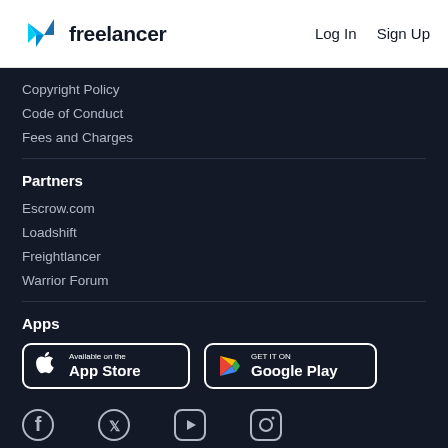Freelancer   Log In   Sign Up
Copyright Policy
Code of Conduct
Fees and Charges
Partners
Escrow.com
Loadshift
Freightlancer
Warrior Forum
Apps
[Figure (logo): Available on the App Store badge]
[Figure (logo): GET IT ON Google Play badge]
[Figure (logo): Social media icons: Facebook, Twitter, YouTube, Instagram]